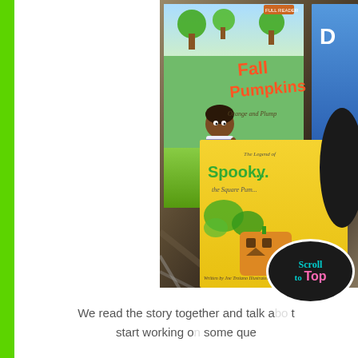[Figure (photo): Photo of children's books on a fabric surface. Books visible include 'Fall Pumpkins: Orange and Plump' (green cover with illustrated child and pumpkins) and 'The Legend of Spooky the Square Pumpkin' (yellow cover). A Facebook social media badge and a 'Scroll to Top' badge are overlaid on the image.]
We read the story together and talk a... start working on some que...